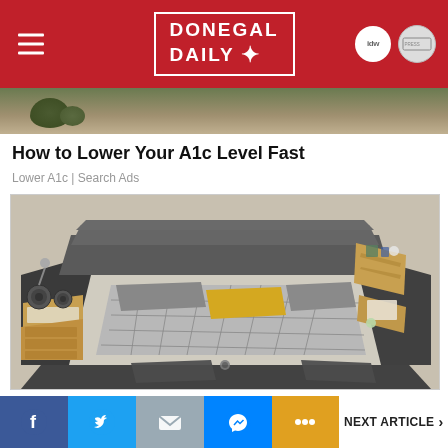[Figure (logo): Donegal Daily logo on red header background with hamburger menu icon and two circular icons on the right]
[Figure (photo): Partial photo of outdoor scene visible at top of content area]
How to Lower Your A1c Level Fast
Lower A1c | Search Ads
[Figure (photo): Photo of a large grey upholstered multifunctional bed with built-in speakers, storage drawers, wooden shelving units, and a yellow pillow on checkered bedding]
NEXT ARTICLE >